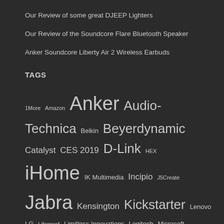Our Review of some great DJEEP Lighters
Our Review of the Soundcore Flare Bluetooth Speaker
Anker Soundcore Liberty Air 2 Wireless Earbuds
TAGS
1More Amazon Anker Audio-Technica Belkin Beyerdynamic Catalyst CES 2019 D-Link HEX iHome IK Multimedia Incipio J5Create Jabra Kensington Kickstarter Lenovo LG Lifeproof Limitless Innovations Logitech Microsoft myCharge Nokia Nomad Oculus rift Olloclip Otterbox Pelican phone cases ROCCAT Samsung Speculative Fiction